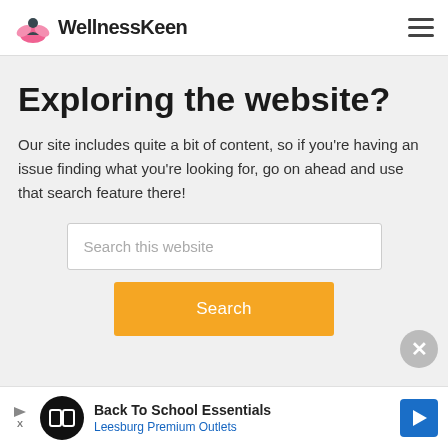WellnessKeen
Exploring the website?
Our site includes quite a bit of content, so if you're having an issue finding what you're looking for, go on ahead and use that search feature there!
Search this website
Search
[Figure (screenshot): Advertisement banner: Back To School Essentials - Leesburg Premium Outlets]